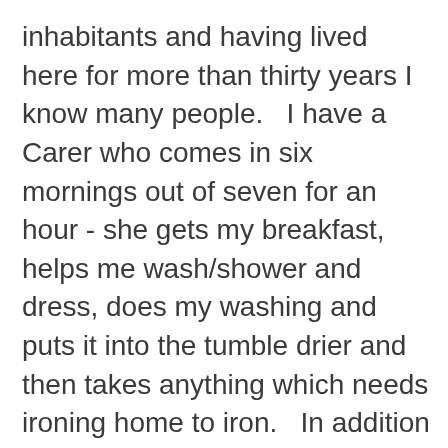inhabitants and having lived here for more than thirty years I know many people.   I have a Carer who comes in six mornings out of seven for an hour - she gets my breakfast, helps me wash/shower and dress, does my washing and puts it into the tumble drier and then takes anything which needs ironing home to iron.   In addition she cooks me a lunch daily - bringing  it to put into the microwave (apart from days when she brings one of her salads - I would happily have one every day she makes such good ones.)